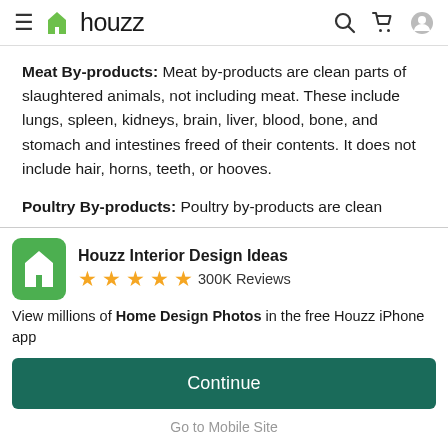houzz
Meat By-products: Meat by-products are clean parts of slaughtered animals, not including meat. These include lungs, spleen, kidneys, brain, liver, blood, bone, and stomach and intestines freed of their contents. It does not include hair, horns, teeth, or hooves.
Poultry By-products: Poultry by-products are clean
[Figure (screenshot): Houzz app promo card with logo icon, 5-star rating, 300K Reviews, app description text, Continue button, and Go to Mobile Site link]
Houzz Interior Design Ideas
300K Reviews
View millions of Home Design Photos in the free Houzz iPhone app
Continue
Go to Mobile Site